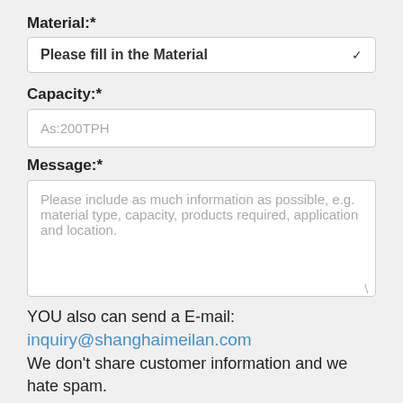Material:*
Please fill in the Material
Capacity:*
As:200TPH
Message:*
Please include as much information as possible, e.g. material type, capacity, products required, application and location.
YOU also can send a E-mail:
inquiry@shanghaimeilan.com
We don't share customer information and we hate spam.
Send Message